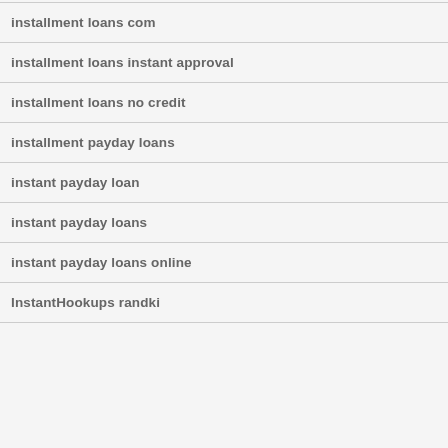installment loans com
installment loans instant approval
installment loans no credit
installment payday loans
instant payday loan
instant payday loans
instant payday loans online
InstantHookups randki